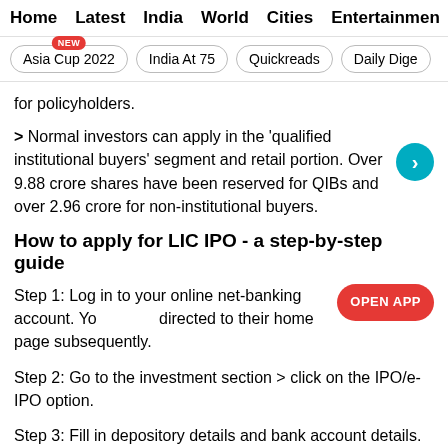Home  Latest  India  World  Cities  Entertainment
Asia Cup 2022  India At 75  Quickreads  Daily Dige
for policyholders.
> Normal investors can apply in the 'qualified institutional buyers' segment and retail portion. Over 9.88 crore shares have been reserved for QIBs and over 2.96 crore for non-institutional buyers.
How to apply for LIC IPO - a step-by-step guide
Step 1: Log in to your online net-banking account. You will be directed to their home page subsequently.
Step 2: Go to the investment section > click on the IPO/e-IPO option.
Step 3: Fill in depository details and bank account details. Once you do that, the verification process will be completed.